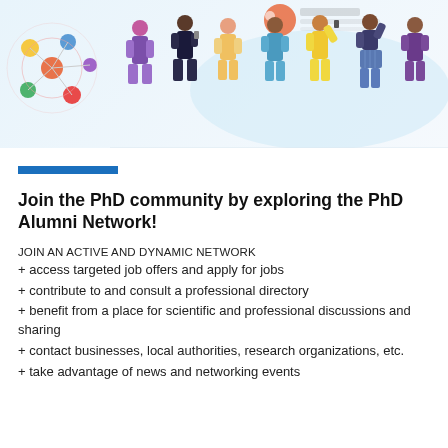[Figure (illustration): PhD Alumni Network+ banner with colorful illustrated figures of people and a network logo with Université Grenoble Alpes branding. Several cartoon-style people standing in a row, holding devices. A molecular/network graphic in orange, red, yellow, green, blue on the left side.]
Join the PhD community by exploring the PhD Alumni Network!
JOIN AN ACTIVE AND DYNAMIC NETWORK
+ access targeted job offers and apply for jobs
+ contribute to and consult a professional directory
+ benefit from a place for scientific and professional discussions and sharing
+ contact businesses, local authorities, research organizations, etc.
+ take advantage of news and networking events